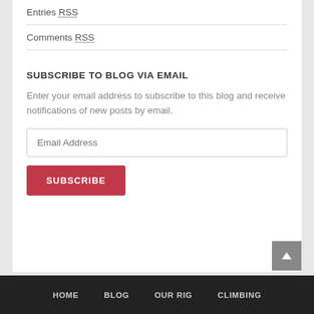Entries RSS
Comments RSS
SUBSCRIBE TO BLOG VIA EMAIL
Enter your email address to subscribe to this blog and receive notifications of new posts by email.
HOME   BLOG   OUR RIG   CLIMBING